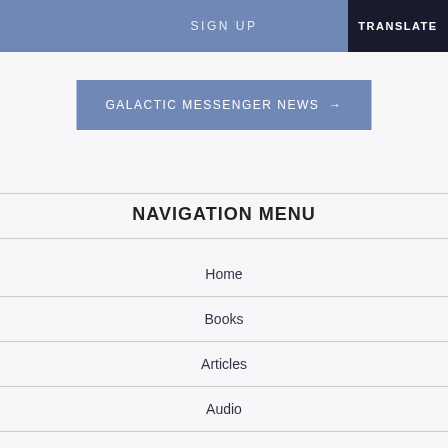SIGN UP
TRANSLATE
GALACTIC MESSENGER NEWS →
NAVIGATION MENU
Home
Books
Articles
Audio
Video
Gallery
Forum